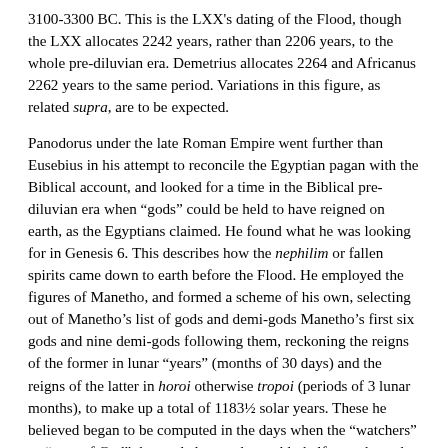3100-3300 BC. This is the LXX's dating of the Flood, though the LXX allocates 2242 years, rather than 2206 years, to the whole pre-diluvian era. Demetrius allocates 2264 and Africanus 2262 years to the same period. Variations in this figure, as related supra, are to be expected.
Panodorus under the late Roman Empire went further than Eusebius in his attempt to reconcile the Egyptian pagan with the Biblical account, and looked for a time in the Biblical pre-diluvian era when “gods” could be held to have reigned on earth, as the Egyptians claimed. He found what he was looking for in Genesis 6. This describes how the nephilim or fallen spirits came down to earth before the Flood. He employed the figures of Manetho, and formed a scheme of his own, selecting out of Manetho’s list of gods and demi-gods Manetho’s first six gods and nine demi-gods following them, reckoning the reigns of the former in lunar “years” (months of 30 days) and the reigns of the latter in horoi otherwise tropoi (periods of 3 lunar months), to make up a total of 1183½ solar years. These he believed began to be computed in the days when the “watchers” or “sons of God” descended to earth roughly half-way through the pre-diluvian era in the days of Enoch, and revealed the secrets of time-reckoning to humans. The whole pre-diluvian era comprises 2242 solar years in Panodorus’ scheme, as in the LXX (based ultimately on the aforesaid interpretation of the Old Chronicle). As the reigns of the gods and demi-gods he selected total 1183½ solar years,